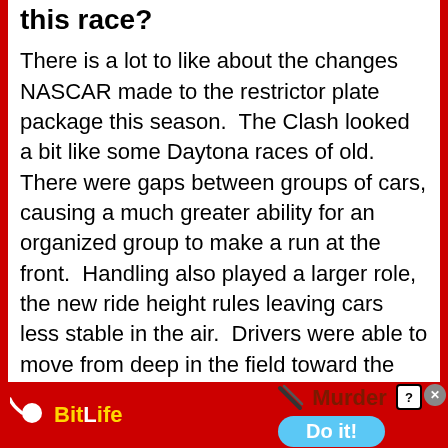this race?
There is a lot to like about the changes NASCAR made to the restrictor plate package this season.  The Clash looked a bit like some Daytona races of old. There were gaps between groups of cars, causing a much greater ability for an organized group to make a run at the front.  Handling also played a larger role, the new ride height rules leaving cars less stable in the air.  Drivers were able to move from deep in the field toward the front.  That’s all good.
What was missing was the feeling the
[Figure (infographic): Advertisement banner at bottom. Left half: red background with BitLife logo (sperm icon and 'BitLife' text in yellow/white). Right half: red background with 'Murder' text in dark red and 'Do it!' blue pill button. Close and help buttons at top right.]